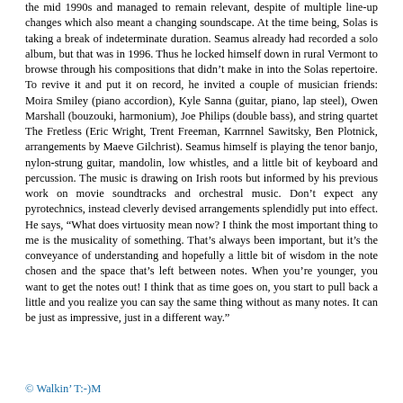the mid 1990s and managed to remain relevant, despite of multiple line-up changes which also meant a changing soundscape. At the time being, Solas is taking a break of indeterminate duration. Seamus already had recorded a solo album, but that was in 1996. Thus he locked himself down in rural Vermont to browse through his compositions that didn't make in into the Solas repertoire. To revive it and put it on record, he invited a couple of musician friends: Moira Smiley (piano accordion), Kyle Sanna (guitar, piano, lap steel), Owen Marshall (bouzouki, harmonium), Joe Philips (double bass), and string quartet The Fretless (Eric Wright, Trent Freeman, Karrnnel Sawitsky, Ben Plotnick, arrangements by Maeve Gilchrist). Seamus himself is playing the tenor banjo, nylon-strung guitar, mandolin, low whistles, and a little bit of keyboard and percussion. The music is drawing on Irish roots but informed by his previous work on movie soundtracks and orchestral music. Don't expect any pyrotechnics, instead cleverly devised arrangements splendidly put into effect. He says, “What does virtuosity mean now? I think the most important thing to me is the musicality of something. That’s always been important, but it's the conveyance of understanding and hopefully a little bit of wisdom in the note chosen and the space that's left between notes. When you’re younger, you want to get the notes out! I think that as time goes on, you start to pull back a little and you realize you can say the same thing without as many notes. It can be just as impressive, just in a different way.”
© Walkin' T:-)M